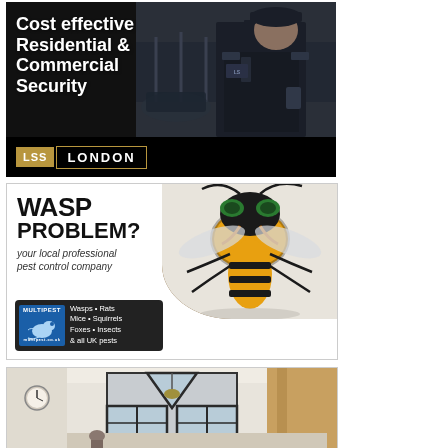[Figure (advertisement): LSS London security ad. Dark photo of a security guard in black uniform. White bold text reads 'Cost effective Residential & Commercial Security'. Gold and white logo at bottom: 'LSS LONDON'.]
[Figure (advertisement): Multipest wasp pest control ad. Large close-up photo of a yellow and black wasp on right. Left text: 'WASP PROBLEM?' in bold black, italic text 'your local professional pest control company'. Blue Multipest logo badge with rat icon. Dark rounded box listing: 'Wasps • Rats Mice • Squirrels Foxes • Insects & all UK pests'.]
[Figure (photo): Partial view of a home interior with large black-framed triangular/arch windows, white walls, pendant light visible. Top portion of advertisement or article image.]